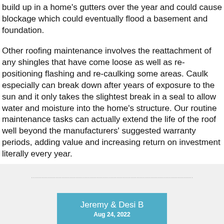build up in a home's gutters over the year and could cause blockage which could eventually flood a basement and foundation.
Other roofing maintenance involves the reattachment of any shingles that have come loose as well as re-positioning flashing and re-caulking some areas. Caulk especially can break down after years of exposure to the sun and it only takes the slightest break in a seal to allow water and moisture into the home's structure. Our routine maintenance tasks can actually extend the life of the roof well beyond the manufacturers' suggested warranty periods, adding value and increasing return on investment literally every year.
Jeremy & Desi B  Aug 24, 2022